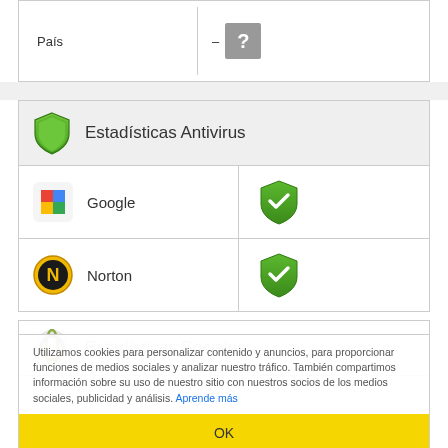|  |  |
| --- | --- |
| País | –  ? |
Estadísticas Antivirus
|  |  |
| --- | --- |
| Google | ✓ |
| Norton | ✓ |
Utilizamos cookies para personalizar contenido y anuncios, para proporcionar funciones de medios sociales y analizar nuestro tráfico. También compartimos información sobre su uso de nuestro sitio con nuestros socios de los medios sociales, publicidad y análisis. Aprende más
Estadísticas Sociales
OK